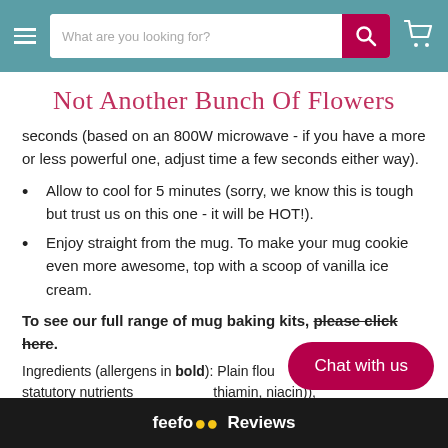Not Another Bunch Of Flowers — website header with search bar and cart icon
Not Another Bunch Of Flowers
seconds (based on an 800W microwave - if you have a more or less powerful one, adjust time a few seconds either way).
Allow to cool for 5 minutes (sorry, we know this is tough but trust us on this one - it will be HOT!).
Enjoy straight from the mug. To make your mug cookie even more awesome, top with a scoop of vanilla ice cream.
To see our full range of mug baking kits, please click here.
Ingredients (allergens in bold): Plain flour (with statutory nutrients (thiamin, niacin)), Belgian plain choc... mass, sugar